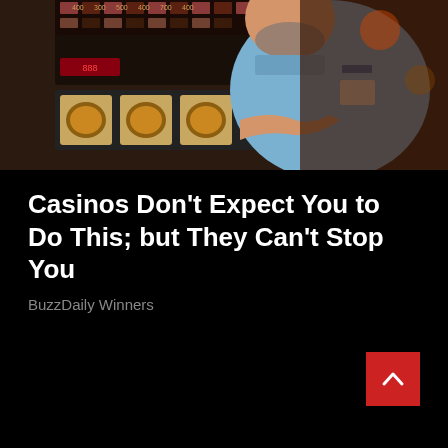[Figure (photo): A heavyset man in a light blue short-sleeve shirt stands next to a slot machine in a casino. The slot machine displays fruit symbols. There are more slot machines with lit displays visible in the background.]
Casinos Don't Expect You to Do This; but They Can't Stop You
BuzzDaily Winners